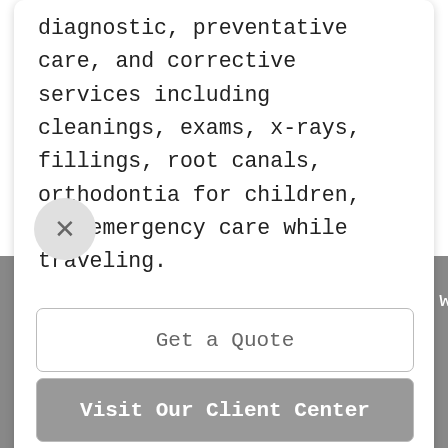diagnostic, preventative care, and corrective services including cleanings, exams, x-rays, fillings, root canals, orthodontia for children, and emergency care while traveling.
We're happy to talk through the details of dental insurance, of course. Contact us, and we'll lead the way.
r agency has your back. How can we help with y
Get a Quote
Visit Our Client Center